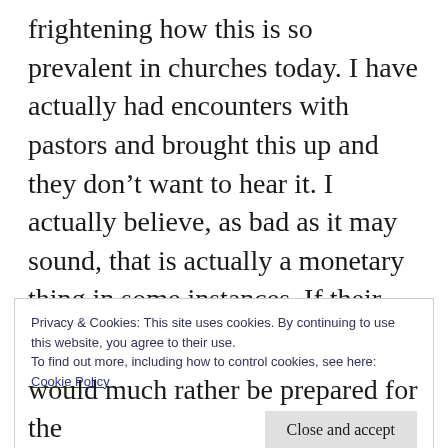frightening how this is so prevalent in churches today. I have actually had encounters with pastors and brought this up and they don't want to hear it. I actually believe, as bad as it may sound, that is actually a monetary thing in some instances. If their congregations were being told that they should be prepare for tough times, the pews would not be filled. I used to listen to “Christian” radio, but all I hear is pre tribulation. The church I attend does not
Privacy & Cookies: This site uses cookies. By continuing to use this website, you agree to their use.
To find out more, including how to control cookies, see here: Cookie Policy
Close and accept
would much rather be prepared for the